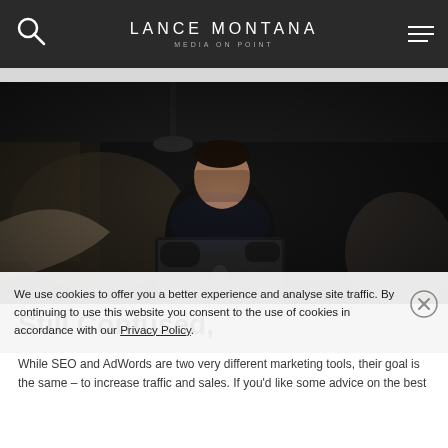use both.
LANCE MONTANA
MEDIA ON POINT
[Figure (photo): A man sitting on a couch in a dark room, focused on a laptop computer. The image is dark and moody with dim lighting from a window.]
Still Confused,
While SEO and AdWords are two very different marketing tools, their goal is the same – to increase traffic and sales. If you'd like some advice on the best
We use cookies to offer you a better experience and analyse site traffic. By continuing to use this website you consent to the use of cookies in accordance with our Privacy Policy.